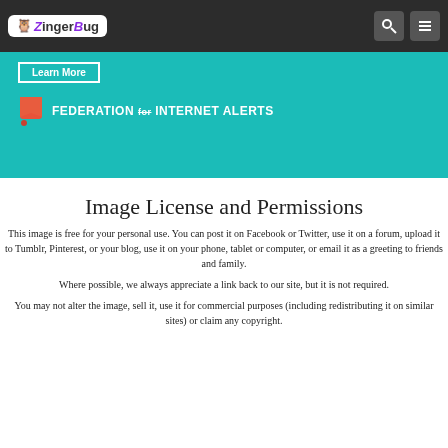ZingerBug
[Figure (screenshot): Teal/turquoise banner advertisement showing a Learn More button and Federation for Internet Alerts logo with orange flag icon]
Image License and Permissions
This image is free for your personal use. You can post it on Facebook or Twitter, use it on a forum, upload it to Tumblr, Pinterest, or your blog, use it on your phone, tablet or computer, or email it as a greeting to friends and family.
Where possible, we always appreciate a link back to our site, but it is not required.
You may not alter the image, sell it, use it for commercial purposes (including redistributing it on similar sites) or claim any copyright.